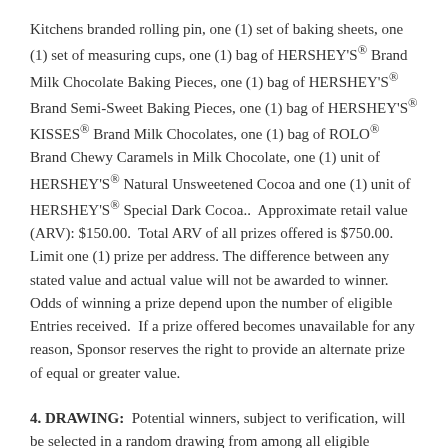Kitchens branded rolling pin, one (1) set of baking sheets, one (1) set of measuring cups, one (1) bag of HERSHEY'S® Brand Milk Chocolate Baking Pieces, one (1) bag of HERSHEY'S® Brand Semi-Sweet Baking Pieces, one (1) bag of HERSHEY'S® KISSES® Brand Milk Chocolates, one (1) bag of ROLO® Brand Chewy Caramels in Milk Chocolate, one (1) unit of HERSHEY'S® Natural Unsweetened Cocoa and one (1) unit of HERSHEY'S® Special Dark Cocoa.. Approximate retail value (ARV): $150.00. Total ARV of all prizes offered is $750.00. Limit one (1) prize per address. The difference between any stated value and actual value will not be awarded to winner. Odds of winning a prize depend upon the number of eligible Entries received. If a prize offered becomes unavailable for any reason, Sponsor reserves the right to provide an alternate prize of equal or greater value.
4. DRAWING: Potential winners, subject to verification, will be selected in a random drawing from among all eligible